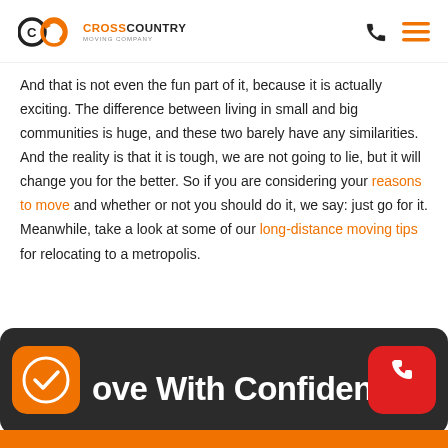CrossCountry Moving Company
And that is not even the fun part of it, because it is actually exciting. The difference between living in small and big communities is huge, and these two barely have any similarities. And the reality is that it is tough, we are not going to lie, but it will change you for the better. So if you are considering your reasons to move and whether or not you should do it, we say: just go for it. Meanwhile, take a look at some of our long-distance moving tips for relocating to a metropolis.
[Figure (infographic): Dark banner with orange check icon on left, text 'Move With Confidence' in white bold font, and red phone icon button on the right. Orange bar at the bottom.]